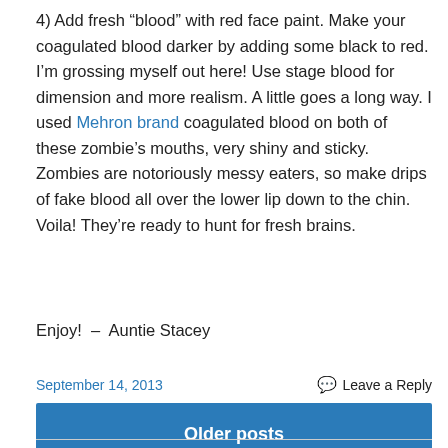4) Add fresh “blood” with red face paint. Make your coagulated blood darker by adding some black to red. I’m grossing myself out here! Use stage blood for dimension and more realism. A little goes a long way. I used Mehron brand coagulated blood on both of these zombie’s mouths, very shiny and sticky. Zombies are notoriously messy eaters, so make drips of fake blood all over the lower lip down to the chin. Voila! They’re ready to hunt for fresh brains.
Enjoy!  –  Auntie Stacey
September 14, 2013
Leave a Reply
Older posts